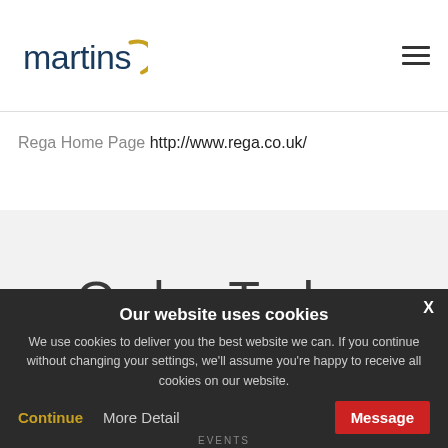[Figure (logo): Martins logo with dark blue text and yellow arc]
[Figure (other): Hamburger menu icon (three horizontal lines)]
Rega Home Page http://www.rega.co.uk/
Order Today
CONTACT US
Our website uses cookies
We use cookies to deliver you the best website we can. If you continue without changing your settings, we'll assume you're happy to receive all cookies on our website.
Continue  More Detail  Message
EVENTS